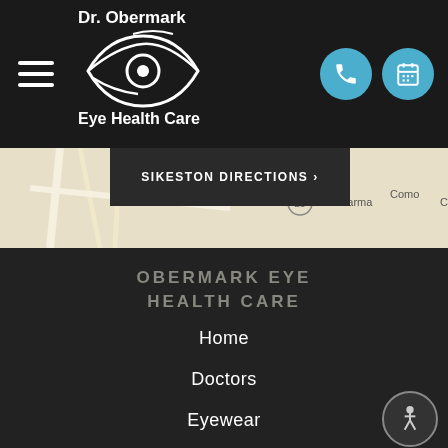[Figure (logo): Dr. Obermark Eye Health Care logo with eye illustration]
[Figure (map): Partial Google map showing Parma, Como, route 25 and surrounding roads]
SIKESTON DIRECTIONS >
OBERMARK EYE HEALTH CARE
Home
Doctors
Eyewear